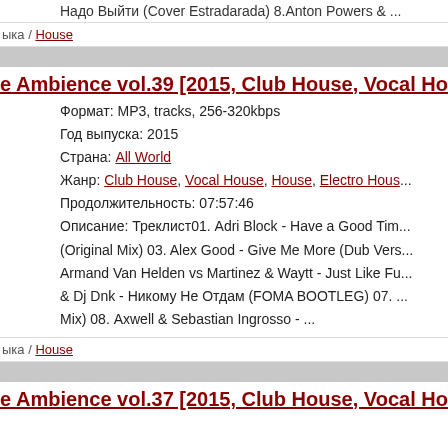Надо Выйти (Cover Estradarada) 8.Anton Powers & ...
ыка / House
e Ambience vol.39 [2015, Club House, Vocal Hou...
Формат: MP3, tracks, 256-320kbps
Год выпуска: 2015
Страна: All World
Жанр: Club House, Vocal House, House, Electro Hous...
Продолжительность: 07:57:46
Описание: Треклист01. Adri Block - Have a Good Tim... (Original Mix) 03. Alex Good - Give Me More (Dub Vers... Armand Van Helden vs Martinez & Waytt - Just Like Fu... & Dj Dnk - Никому Не Отдам (FOMA BOOTLEG) 07. ... Mix) 08. Axwell & Sebastian Ingrosso - ...
ыка / House
e Ambience vol.37 [2015, Club House, Vocal Hou...